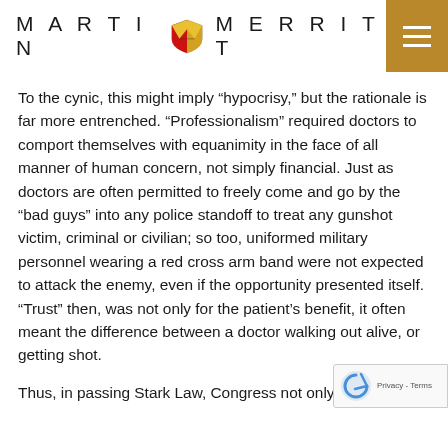MARTIN MERRITT
To the cynic, this might imply “hypocrisy,” but the rationale is far more entrenched. “Professionalism” required doctors to comport themselves with equanimity in the face of all manner of human concern, not simply financial. Just as doctors are often permitted to freely come and go by the “bad guys” into any police standoff to treat any gunshot victim, criminal or civilian; so too, uniformed military personnel wearing a red cross arm band were not expected to attack the enemy, even if the opportunity presented itself. “Trust” then, was not only for the patient’s benefit, it often meant the difference between a doctor walking out alive, or getting shot.
Thus, in passing Stark Law, Congress not only co… the AMA Code of Ethics…